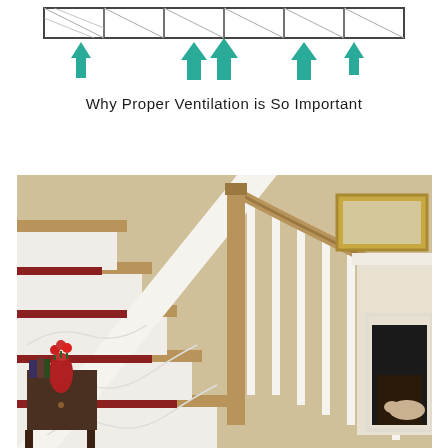[Figure (schematic): Ventilation diagram showing a roof cross-section with teal/turquoise downward-pointing arrows indicating airflow direction through vents along the roofline.]
Why Proper Ventilation is So Important
[Figure (photo): Interior photo of a residential staircase with white painted balusters, oak wood handrail and treads, red carpet runner, and a fireplace visible in the background. A dark wood side table with a red vase sits at the base of the stairs.]